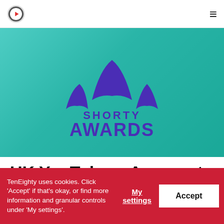TenEighty logo and hamburger menu
[Figure (illustration): Shorty Awards logo — three whale tail fins in purple/indigo on a teal gradient background, with text SHORTY AWARDS in bold purple uppercase letters]
UK YouTubers Amongst
TenEighty uses cookies. Click 'Accept' if that's okay, or find more information and granular controls under 'My settings'.